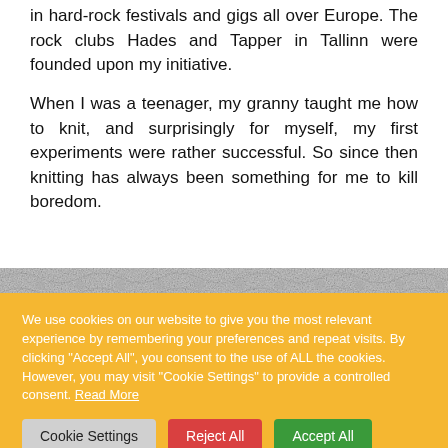in hard-rock festivals and gigs all over Europe. The rock clubs Hades and Tapper in Tallinn were founded upon my initiative.
When I was a teenager, my granny taught me how to knit, and surprisingly for myself, my first experiments were rather successful. So since then knitting has always been something for me to kill boredom.
[Figure (photo): A black and white close-up photograph of knitted or crocheted lace fabric texture.]
We use cookies on our website to give you the most relevant experience by remembering your preferences and repeat visits. By clicking "Accept All", you consent to the use of ALL the cookies. However, you may visit "Cookie Settings" to provide a controlled consent. Read More